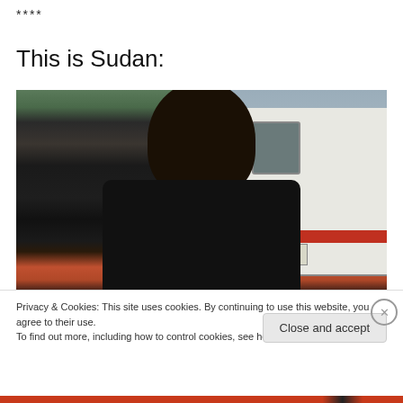****
This is Sudan:
[Figure (photo): A man standing outdoors in a black t-shirt with an Obama face print on it, with a white van visible to his right and market stalls behind him in Sudan.]
Privacy & Cookies: This site uses cookies. By continuing to use this website, you agree to their use.
To find out more, including how to control cookies, see here: Cookie Policy